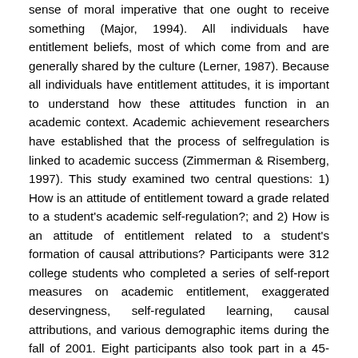sense of moral imperative that one ought to receive something (Major, 1994). All individuals have entitlement beliefs, most of which come from and are generally shared by the culture (Lerner, 1987). Because all individuals have entitlement attitudes, it is important to understand how these attitudes function in an academic context. Academic achievement researchers have established that the process of selfregulation is linked to academic success (Zimmerman & Risemberg, 1997). This study examined two central questions: 1) How is an attitude of entitlement toward a grade related to a student's academic self-regulation?; and 2) How is an attitude of entitlement related to a student's formation of causal attributions? Participants were 312 college students who completed a series of self-report measures on academic entitlement, exaggerated deservingness, self-regulated learning, causal attributions, and various demographic items during the fall of 2001. Eight participants also took part in a 45-minute interview. Confirmatory factor analyses supported a two-factor model of academic entitlement consisting of beliefs and actions. Entitlement beliefs and actions were positively related to external attributions and negatively related to internal attributions. Pearson correlation methods revealed that entitlement beliefs were negatively related to the following measures of self-regulation: use of metacognitive strategies, use of time and study environment, and effort